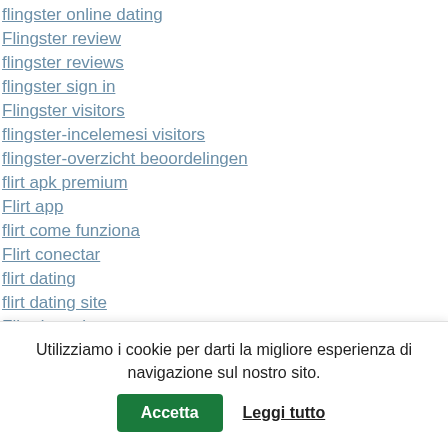flingster online dating
Flingster review
flingster reviews
flingster sign in
Flingster visitors
flingster-incelemesi visitors
flingster-overzicht beoordelingen
flirt apk premium
Flirt app
flirt come funziona
Flirt conectar
flirt dating
flirt dating site
Flirt des prix
Flirt funziona in italia
flirt iniziare con
Utilizziamo i cookie per darti la migliore esperienza di navigazione sul nostro sito.
Accetta
Leggi tutto